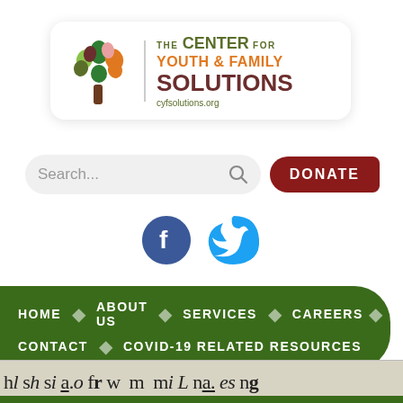[Figure (logo): The Center for Youth & Family Solutions logo with a colorful tree and text, cyfsolutions.org]
[Figure (screenshot): Search bar with search icon and a red DONATE button]
[Figure (logo): Facebook and Twitter social media icons]
[Figure (screenshot): Green navigation bar with HOME, ABOUT US, SERVICES, CAREERS, CONTACT, COVID-19 RELATED RESOURCES]
[Figure (photo): Bottom portion showing a measuring tape with letters/text on a striped background]